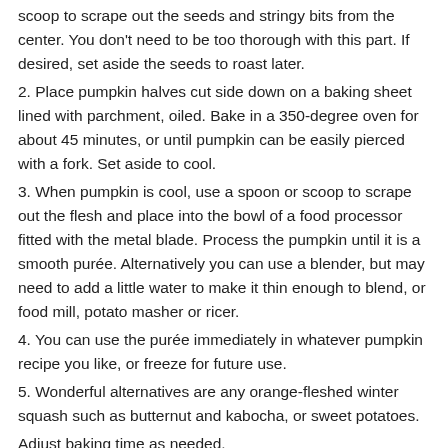scoop to scrape out the seeds and stringy bits from the center. You don't need to be too thorough with this part. If desired, set aside the seeds to roast later.
2. Place pumpkin halves cut side down on a baking sheet lined with parchment, oiled. Bake in a 350-degree oven for about 45 minutes, or until pumpkin can be easily pierced with a fork. Set aside to cool.
3. When pumpkin is cool, use a spoon or scoop to scrape out the flesh and place into the bowl of a food processor fitted with the metal blade. Process the pumpkin until it is a smooth purée. Alternatively you can use a blender, but may need to add a little water to make it thin enough to blend, or food mill, potato masher or ricer.
4. You can use the purée immediately in whatever pumpkin recipe you like, or freeze for future use.
5. Wonderful alternatives are any orange-fleshed winter squash such as butternut and kabocha, or sweet potatoes.
Adjust baking time as needed.